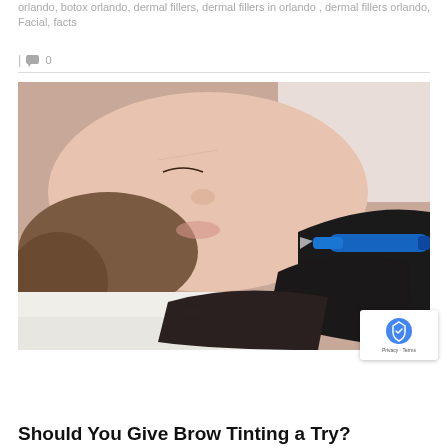orlando, botox orlando, dermal fillers, dermal fillers in orlando, dermal fillers orlando, Facial, facts
| 💬 0
[Figure (photo): A woman lying on her back with eyes closed receiving a cosmetic brow treatment. A practitioner wearing black gloves holds a blue microblading or tattooing pen and applies it near the woman's eyebrow area. The woman is resting on a white towel.]
Should You Give Brow Tinting a Try?